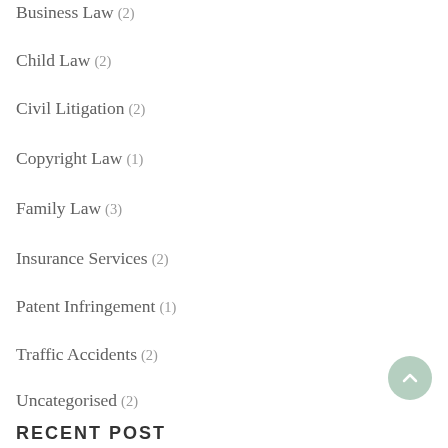Business Law (2)
Child Law (2)
Civil Litigation (2)
Copyright Law (1)
Family Law (3)
Insurance Services (2)
Patent Infringement (1)
Traffic Accidents (2)
Uncategorised (2)
RECENT POST